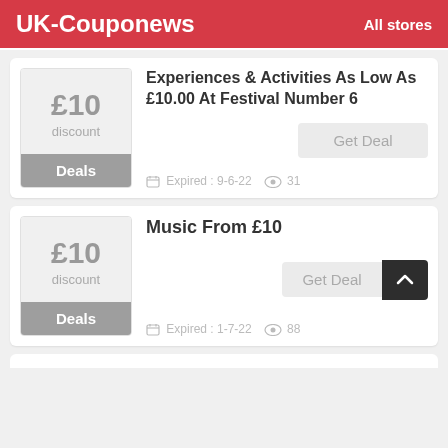UK-Couponews   All stores
£10 discount | Deals | Experiences & Activities As Low As £10.00 At Festival Number 6 | Get Deal | Expired: 9-6-22 | 31
£10 discount | Deals | Music From £10 | Get Deal | Expired: 1-7-22 | 88